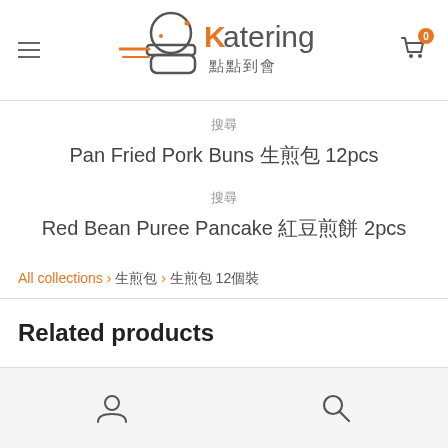Katering 點點到會 — navigation header with logo, menu icon, and cart
搜尋
Pan Fried Pork Buns 生煎包 12pcs
搜尋
Red Bean Puree Pancake 紅豆煎餅 2pcs
All collections › 生煎包 › 生煎包 12個裝
Related products
Footer navigation bar with user and search icons